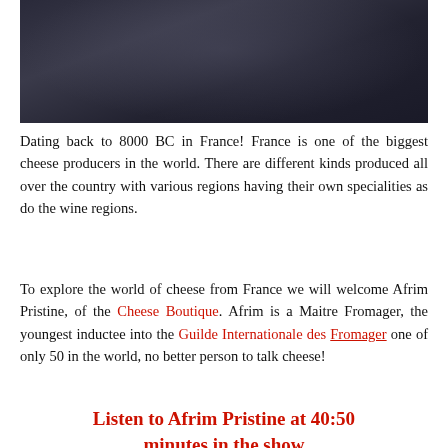[Figure (photo): A person wearing a dark navy jacket with 'Cheese Boutique' branding, posed in front of shelves with cheese wheels and wooden crates.]
Dating back to 8000 BC in France! France is one of the biggest cheese producers in the world. There are different kinds produced all over the country with various regions having their own specialities as do the wine regions.
To explore the world of cheese from France we will welcome Afrim Pristine, of the Cheese Boutique. Afrim is a Maitre Fromager, the youngest inductee into the Guilde Internationale des Fromager one of only 50 in the world, no better person to talk cheese!
Listen to Afrim Pristine at 40:50 minutes in the show